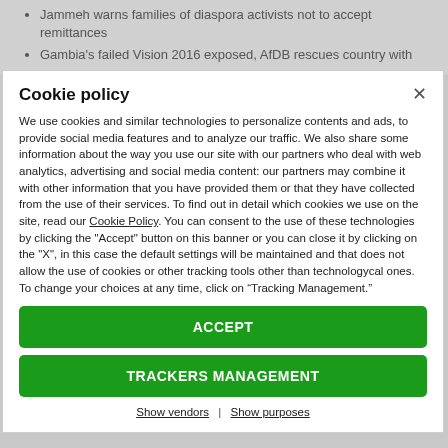Jammeh warns families of diaspora activists not to accept remittances
Gambia's failed Vision 2016 exposed, AfDB rescues country with
Cookie policy
We use cookies and similar technologies to personalize contents and ads, to provide social media features and to analyze our traffic. We also share some information about the way you use our site with our partners who deal with web analytics, advertising and social media content: our partners may combine it with other information that you have provided them or that they have collected from the use of their services. To find out in detail which cookies we use on the site, read our Cookie Policy. You can consent to the use of these technologies by clicking the "Accept" button on this banner or you can close it by clicking on the "X", in this case the default settings will be maintained and that does not allow the use of cookies or other tracking tools other than technologycal ones. To change your choices at any time, click on “Tracking Management.”
ACCEPT
TRACKERS MANAGEMENT
Show vendors | Show purposes